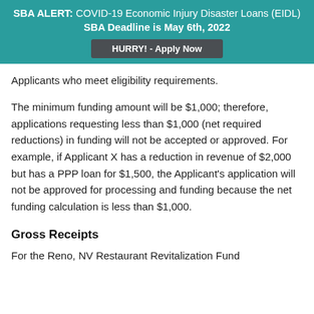SBA ALERT: COVID-19 Economic Injury Disaster Loans (EIDL) SBA Deadline is May 6th, 2022
HURRY! - Apply Now
Applicants who meet eligibility requirements.
The minimum funding amount will be $1,000; therefore, applications requesting less than $1,000 (net required reductions) in funding will not be accepted or approved. For example, if Applicant X has a reduction in revenue of $2,000 but has a PPP loan for $1,500, the Applicant's application will not be approved for processing and funding because the net funding calculation is less than $1,000.
Gross Receipts
For the Reno, NV Restaurant Revitalization Fund